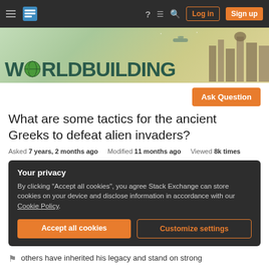Worldbuilding Stack Exchange – Navigation bar with Log in and Sign up buttons
[Figure (illustration): Worldbuilding Stack Exchange site banner with stylized text 'WORLDBUILDING' and a fantasy city illustration on the right]
Ask Question
What are some tactics for the ancient Greeks to defeat alien invaders?
Asked 7 years, 2 months ago   Modified 11 months ago   Viewed 8k times
Your privacy
By clicking "Accept all cookies", you agree Stack Exchange can store cookies on your device and disclose information in accordance with our Cookie Policy.
Accept all cookies   Customize settings
others have inherited his legacy and stand on strong